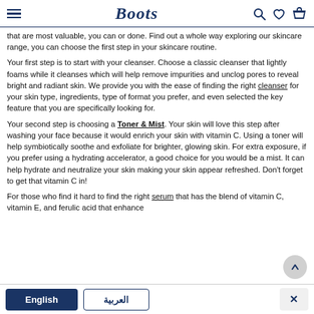Boots — navigation header with hamburger menu, Boots logo, search, wishlist, and basket icons
that are most valuable, you can or done. Find out a whole way exploring our skincare range, you can choose the first step in your skincare routine.
Your first step is to start with your cleanser. Choose a classic cleanser that lightly foams while it cleanses which will help remove impurities and unclog pores to reveal bright and radiant skin. We provide you with the ease of finding the right cleanser for your skin type, ingredients, type of format you prefer, and even selected the key feature that you are specifically looking for.
Your second step is choosing a Toner & Mist. Your skin will love this step after washing your face because it would enrich your skin with vitamin C. Using a toner will help symbiotically soothe and exfoliate for brighter, glowing skin. For extra exposure, if you prefer using a hydrating accelerator, a good choice for you would be a mist. It can help hydrate and neutralize your skin making your skin appear refreshed. Don't forget to get that vitamin C in!
For those who find it hard to find the right serum that has the blend of vitamin C, vitamin E, and ferulic acid that enhance
English | العربية | ×